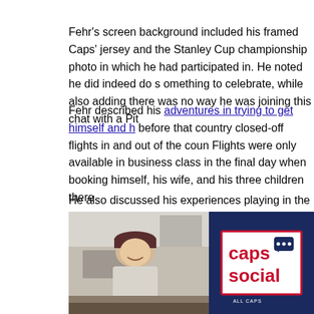Fehr's screen background included his framed Caps' jersey and the Stanley Cup championship photo in which he had participated in. He noted he did indeed do something to celebrate, while also adding there was no way he was joining this chat with a Pit...
Fehr described his adventures in trying to get himself and h... before that country closed-off flights in and out of the coun... Flights were only available in business class in the final day... when booking himself, his wife, and his three children there...
He also discussed his experiences playing in the Swiss leag... more penalties, and that the officiating was not the best.
[Figure (photo): Screenshot from a video call showing a man in a baseball cap on the left side, and the Caps Social logo (red text on white background with dark blue border, inside a dark navy background) on the right side.]